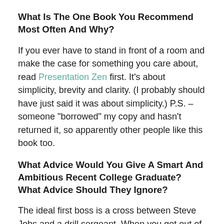What Is The One Book You Recommend Most Often And Why?
If you ever have to stand in front of a room and make the case for something you care about, read Presentation Zen first. It’s about simplicity, brevity and clarity. (I probably should have just said it was about simplicity.) P.S. – someone “borrowed” my copy and hasn’t returned it, so apparently other people like this book too.
What Advice Would You Give A Smart And Ambitious Recent College Graduate? What Advice Should They Ignore?
The ideal first boss is a cross between Steve Jobs and a drill sergeant. When you get out of